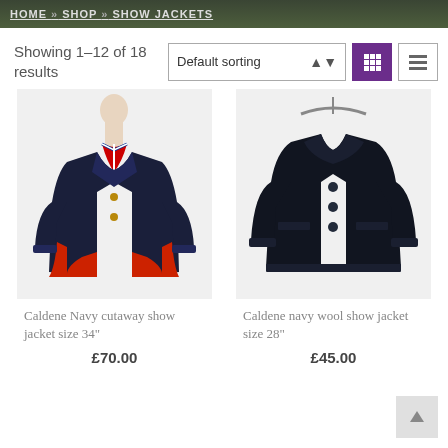HOME » SHOP » SHOW JACKETS
Showing 1–12 of 18 results
[Figure (photo): Navy cutaway show jacket on mannequin with red lining and Union Jack tie]
Caldene Navy cutaway show jacket size 34"
£70.00
[Figure (photo): Dark navy/black wool show jacket on hanger, plain with three buttons]
Caldene navy wool show jacket size 28"
£45.00